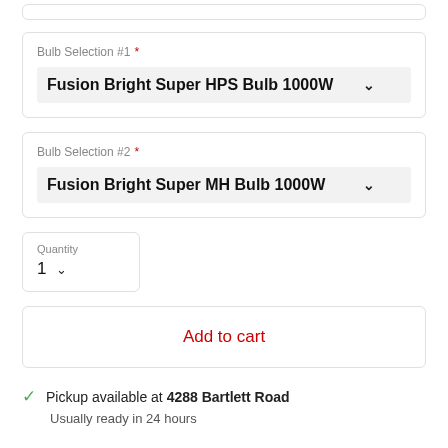Bulb Selection #1 *
Fusion Bright Super HPS Bulb 1000W
Bulb Selection #2 *
Fusion Bright Super MH Bulb 1000W
Quantity
1
Add to cart
Pickup available at 4288 Bartlett Road
Usually ready in 24 hours